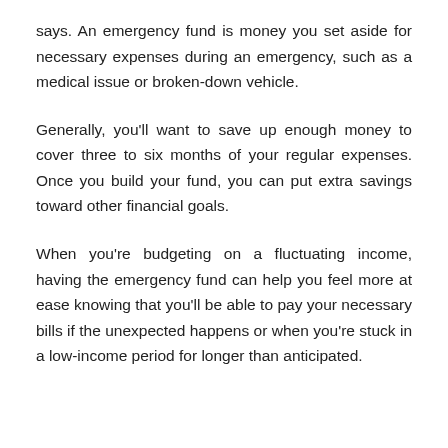says. An emergency fund is money you set aside for necessary expenses during an emergency, such as a medical issue or broken-down vehicle.
Generally, you'll want to save up enough money to cover three to six months of your regular expenses. Once you build your fund, you can put extra savings toward other financial goals.
When you're budgeting on a fluctuating income, having the emergency fund can help you feel more at ease knowing that you'll be able to pay your necessary bills if the unexpected happens or when you're stuck in a low-income period for longer than anticipated.